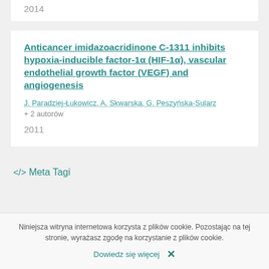2014
Anticancer imidazoacridinone C-1311 inhibits hypoxia-inducible factor-1α (HIF-1α), vascular endothelial growth factor (VEGF) and angiogenesis
J. Paradziej-Łukowicz, A. Skwarska, G. Peszyńska-Sularz
+ 2 autorów
2011
</> Meta Tagi
Niniejsza witryna internetowa korzysta z plików cookie. Pozostając na tej stronie, wyrażasz zgodę na korzystanie z plików cookie.
Dowiedz się więcej